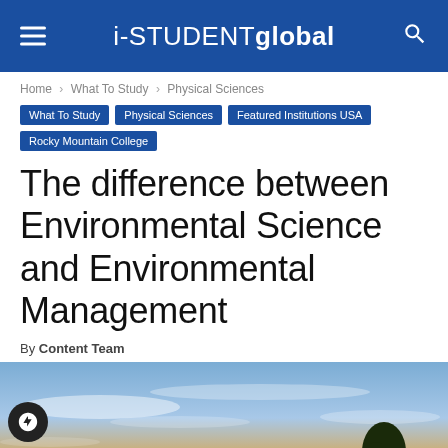i-STUDENTglobal
Home › What To Study › Physical Sciences
What To Study
Physical Sciences
Featured Institutions USA
Rocky Mountain College
The difference between Environmental Science and Environmental Management
By Content Team
[Figure (photo): Outdoor landscape photo at dusk/sunset showing a sky with clouds, a silhouette of a tree on the right side, and open fields below]